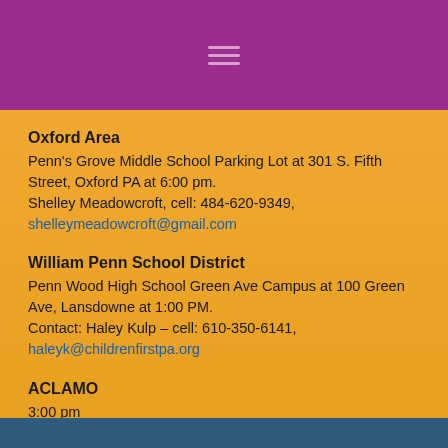Oxford Area
Penn's Grove Middle School Parking Lot at 301 S. Fifth Street, Oxford PA at 6:00 pm.
Shelley Meadowcroft, cell: 484-620-9349, shelleymeadowcroft@gmail.com
William Penn School District
Penn Wood High School Green Ave Campus at 100 Green Ave, Lansdowne at 1:00 PM.
Contact: Haley Kulp – cell: 610-350-6141, haleyk@childrenfirstpa.org
ACLAMO
3:00 pm
536 George Street, Norristown, PA 19401,
Cerridwen Cox at businessdevelopment@aclamo.org